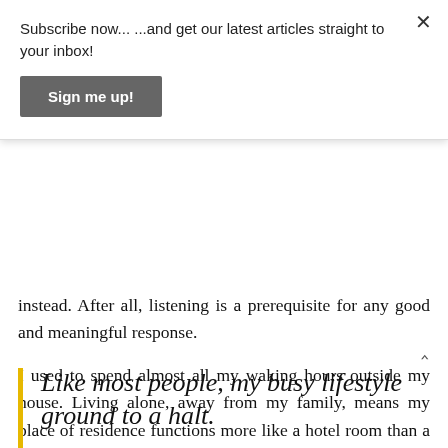Subscribe now... ...and get our latest articles straight to your inbox!
Sign me up!
instead. After all, listening is a prerequisite for any good and meaningful response.
I used to spend almost all my waking hours outside my house. Living alone, away from my family, means my place of residence functions more like a hotel room than a real home. My days were filled with activities. Consequently, I never knew what loneliness felt like. I was happy living this way, or at least I thought I was, until the advent of Covid-19 which suddenly changed everything.
Like most people, my busy lifestyle ground to a halt.